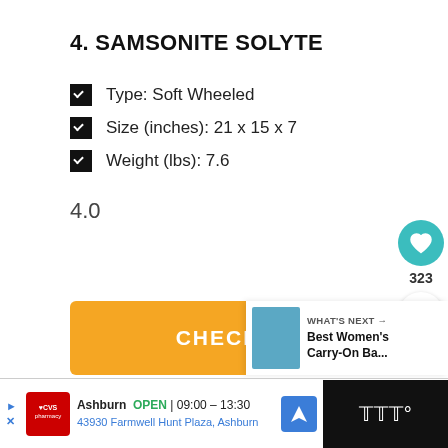4. SAMSONITE SOLYTE
Type: Soft Wheeled
Size (inches): 21 x 15 x 7
Weight (lbs): 7.6
4.0
CHECK PRICE
WHAT'S NEXT → Best Women's Carry-On Ba...
Ashburn OPEN | 09:00 – 13:30
43930 Farmwell Hunt Plaza, Ashburn